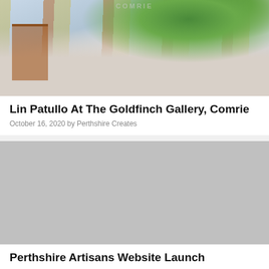[Figure (photo): Painting of a street scene with buildings and green foliage (oil painting style), with faint 'COMRIE' text overlay at top center]
Lin Patullo At The Goldfinch Gallery, Comrie
October 16, 2020 by Perthshire Creates
[Figure (photo): Gray placeholder image for second article]
Perthshire Artisans Website Launch
August 17, 2020 by Perthshire Creates